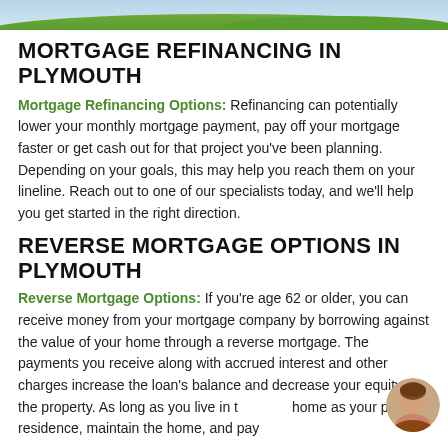[Figure (photo): Top banner image showing a green landscape/house rooftop with grass and sky]
MORTGAGE REFINANCING IN PLYMOUTH
Mortgage Refinancing Options: Refinancing can potentially lower your monthly mortgage payment, pay off your mortgage faster or get cash out for that project you've been planning. Depending on your goals, this may help you reach them on your lineline. Reach out to one of our specialists today, and we'll help you get started in the right direction.
REVERSE MORTGAGE OPTIONS IN PLYMOUTH
Reverse Mortgage Options: If you're age 62 or older, you can receive money from your mortgage company by borrowing against the value of your home through a reverse mortgage. The payments you receive along with accrued interest and other charges increase the loan's balance and decrease your equity in the property. As long as you live in the home as your primary residence, maintain the home, and pay
[Figure (photo): Small circular avatar/portrait photo of a woman, bottom right corner]